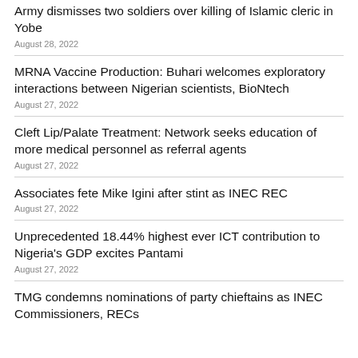Army dismisses two soldiers over killing of Islamic cleric in Yobe
August 28, 2022
MRNA Vaccine Production: Buhari welcomes exploratory interactions between Nigerian scientists, BioNtech
August 27, 2022
Cleft Lip/Palate Treatment: Network seeks education of more medical personnel as referral agents
August 27, 2022
Associates fete Mike Igini after stint as INEC REC
August 27, 2022
Unprecedented 18.44% highest ever ICT contribution to Nigeria's GDP excites Pantami
August 27, 2022
TMG condemns nominations of party chieftains as INEC Commissioners, RECs